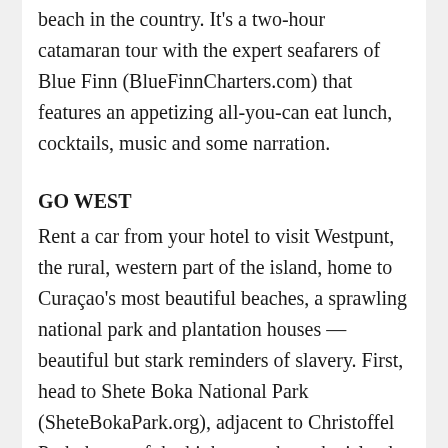beach in the country. It's a two-hour catamaran tour with the expert seafarers of Blue Finn (BlueFinnCharters.com) that features an appetizing all-you-can eat lunch, cocktails, music and some narration.
GO WEST
Rent a car from your hotel to visit Westpunt, the rural, western part of the island, home to Curaçao's most beautiful beaches, a sprawling national park and plantation houses — beautiful but stark reminders of slavery. First, head to Shete Boka National Park (SheteBokaPark.org), adjacent to Christoffel Park, home of the highest peak on the island. The park covers more than six miles of the north coast of the island. It is exposed to rocky waves and features 10 small bays where three species of sea